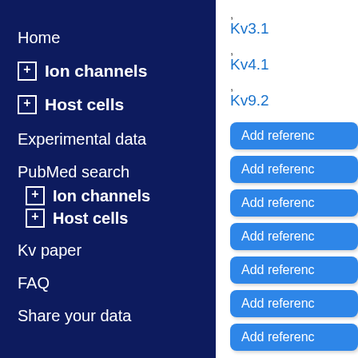Home
⊞ Ion channels
⊞ Host cells
Experimental data
PubMed search
⊞ Ion channels
⊞ Host cells
Kv paper
FAQ
Share your data
Kv3.1
Kv4.1
Kv9.2
Add reference
Add reference
Add reference
Add reference
Add reference
Add reference
Add reference